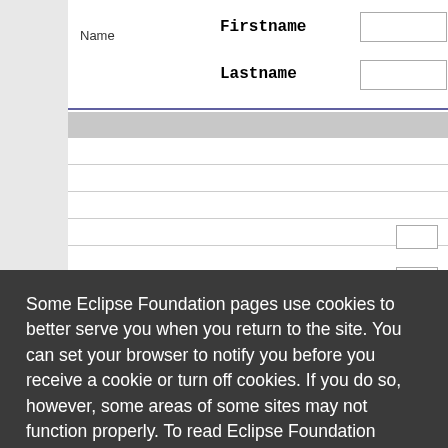| Field | Label | Input |
| --- | --- | --- |
| Name | Firstname |  |
|  | Lastname |  |
Some Eclipse Foundation pages use cookies to better serve you when you return to the site. You can set your browser to notify you before you receive a cookie or turn off cookies. If you do so, however, some areas of some sites may not function properly. To read Eclipse Foundation Privacy Policy
click here.
Decline
Allow cookies